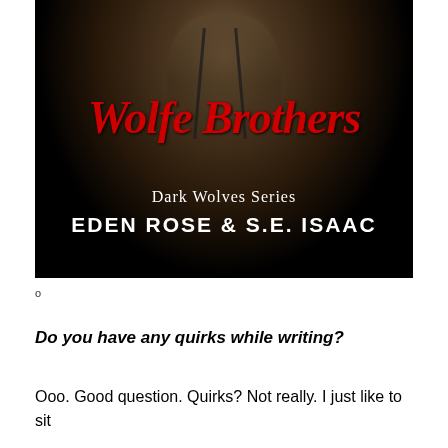[Figure (illustration): Book cover for 'Wolfe Brothers' from the Dark Wolves Series by Eden Rose & S.E. Isaac. Features a muscular shirtless man in an open vest against a dark background. Title text 'Wolfe Brothers' is in large red stylized script font. Below that reads 'Dark Wolves Series' in white serif font, and at the bottom 'EDEN ROSE & S.E. ISAAC' in large white bold caps.]
o
Do you have any quirks while writing?
Ooo. Good question. Quirks? Not really. I just like to sit